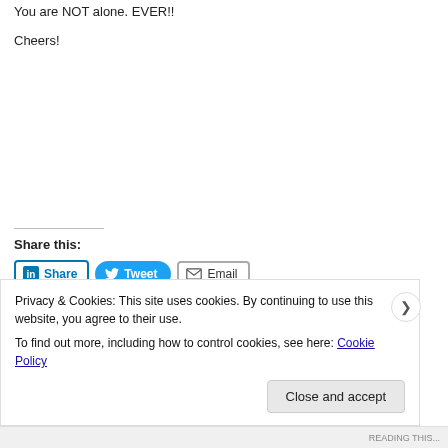You are NOT alone. EVER!!
Cheers!
Share this:
[Figure (other): Share buttons: LinkedIn Share, Tweet, Email]
Privacy & Cookies: This site uses cookies. By continuing to use this website, you agree to their use.
To find out more, including how to control cookies, see here: Cookie Policy
Close and accept